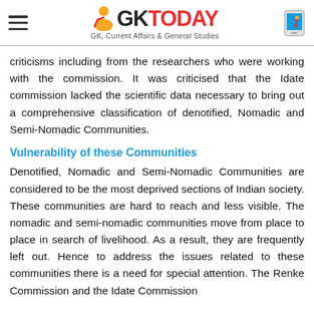GKToday - GK, Current Affairs & General Studies
criticisms including from the researchers who were working with the commission. It was criticised that the Idate commission lacked the scientific data necessary to bring out a comprehensive classification of denotified, Nomadic and Semi-Nomadic Communities.
Vulnerability of these Communities
Denotified, Nomadic and Semi-Nomadic Communities are considered to be the most deprived sections of Indian society. These communities are hard to reach and less visible. The nomadic and semi-nomadic communities move from place to place in search of livelihood. As a result, they are frequently left out. Hence to address the issues related to these communities there is a need for special attention. The Renke Commission and the Idate Commission